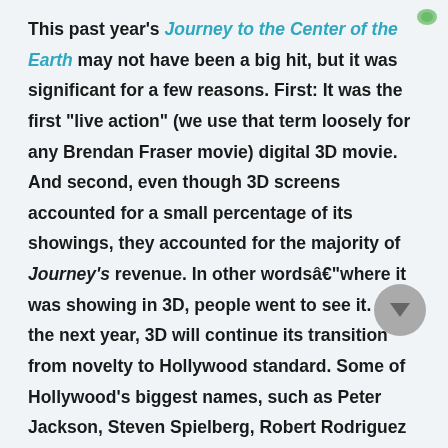This past year's Journey to the Center of the Earth may not have been a big hit, but it was significant for a few reasons. First: It was the first "live action" (we use that term loosely for any Brendan Fraser movie) digital 3D movie. And second, even though 3D screens accounted for a small percentage of its showings, they accounted for the majority of Journey's revenue. In other wordsâ€"where it was showing in 3D, people went to see it. Over the next year, 3D will continue its transition from novelty to Hollywood standard. Some of Hollywood's biggest names, such as Peter Jackson, Steven Spielberg, Robert Rodriguez and